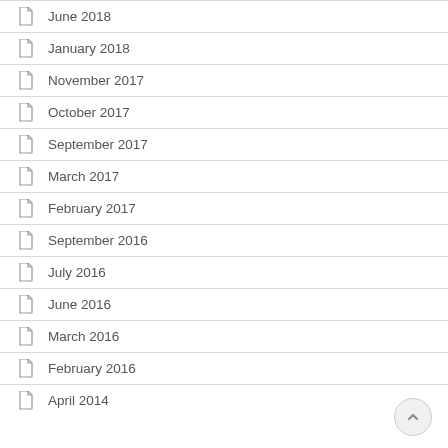June 2018
January 2018
November 2017
October 2017
September 2017
March 2017
February 2017
September 2016
July 2016
June 2016
March 2016
February 2016
April 2014